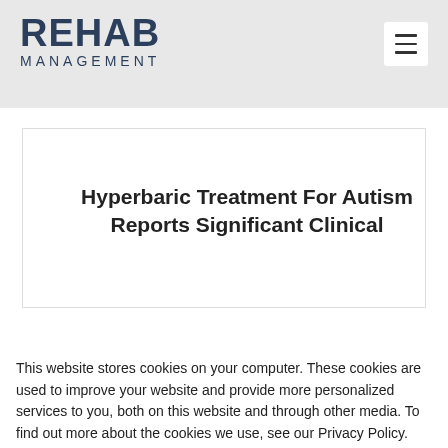REHAB MANAGEMENT
Hyperbaric Treatment For Autism Reports Significant Clinical
This website stores cookies on your computer. These cookies are used to improve your website and provide more personalized services to you, both on this website and through other media. To find out more about the cookies we use, see our Privacy Policy.
Accept